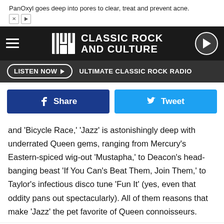[Figure (screenshot): Advertisement banner: PanOxyl goes deep into pores to clear, treat and prevent acne. With X and play ad icons.]
[Figure (logo): UCR Classic Rock and Culture logo with hamburger menu and play button on dark navbar]
LISTEN NOW  ULTIMATE CLASSIC ROCK RADIO
[Figure (infographic): Social sharing buttons: Facebook Share and Twitter Tweet]
and 'Bicycle Race,' 'Jazz' is astonishingly deep with underrated Queen gems, ranging from Mercury's Eastern-spiced wig-out 'Mustapha,' to Deacon's head-banging beast 'If You Can's Beat Them, Join Them,' to Taylor's infectious disco tune 'Fun It' (yes, even that oddity pans out spectacularly). All of them reasons that make 'Jazz' the pet favorite of Queen connoisseurs.
Search for